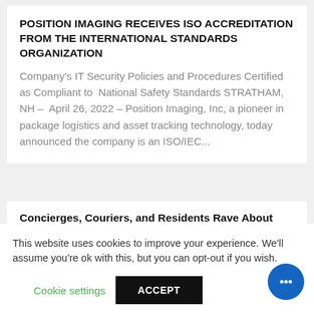POSITION IMAGING RECEIVES ISO ACCREDITATION FROM THE INTERNATIONAL STANDARDS ORGANIZATION
Company's IT Security Policies and Procedures Certified as Compliant to  National Safety Standards STRATHAM, NH –  April 26, 2022 – Position Imaging, Inc, a pioneer in package logistics and asset tracking technology, today announced the company is an ISO/IEC...
Concierges, Couriers, and Residents Rave About
This website uses cookies to improve your experience. We'll assume you're ok with this, but you can opt-out if you wish.